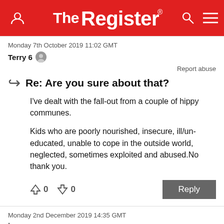The Register
Monday 7th October 2019 11:02 GMT
Terry 6
Report abuse
Re: Are you sure about that?
I've dealt with the fall-out from a couple of hippy communes.
Kids who are poorly nourished, insecure, ill/un-educated, unable to cope in the outside world, neglected, sometimes exploited and abused.No thank you.
0  0   Reply
Monday 2nd December 2019 14:35 GMT
jospanner
Report abuse